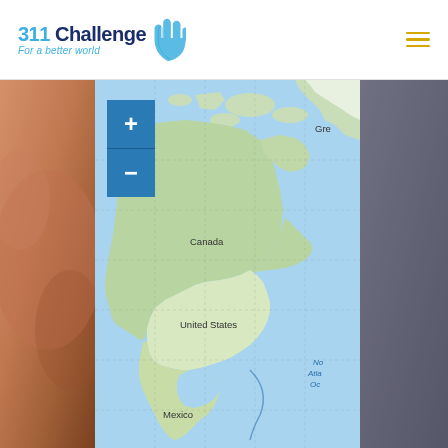311 Challenge – For a better world
[Figure (map): Interactive map of North America showing Canada, United States, Mexico, and partial view of Greenland and North Atlantic Ocean, with zoom in/out controls]
[Figure (photo): Partial face/skin close-up photo on the left side]
[Figure (photo): Gray/dark background photo on the right side]